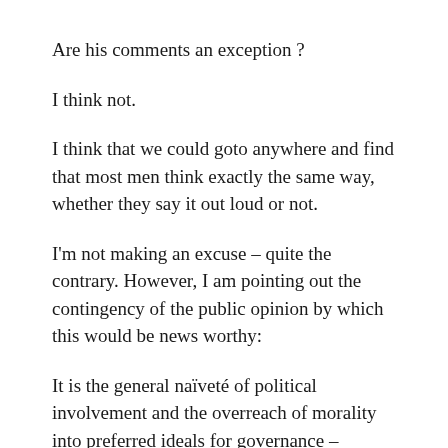Are his comments an exception ?
I think not.
I think that we could goto anywhere and find that most men think exactly the same way, whether they say it out loud or not.
I'm not making an excuse – quite the contrary. However, I am pointing out the contingency of the public opinion by which this would be news worthy:
It is the general naïveté of political involvement and the overreach of morality into preferred ideals for governance – embodied contradiction – that shows